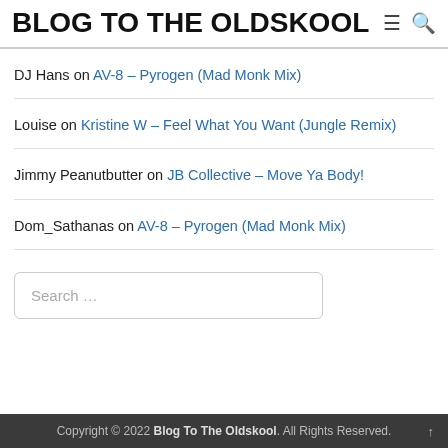BLOG TO THE OLDSKOOL
DJ Hans on AV-8 – Pyrogen (Mad Monk Mix)
Louise on Kristine W – Feel What You Want (Jungle Remix)
Jimmy Peanutbutter on JB Collective – Move Ya Body!
Dom_Sathanas on AV-8 – Pyrogen (Mad Monk Mix)
Search …
Copyright © 2022 Blog To The Oldskool. All Rights Reserved.